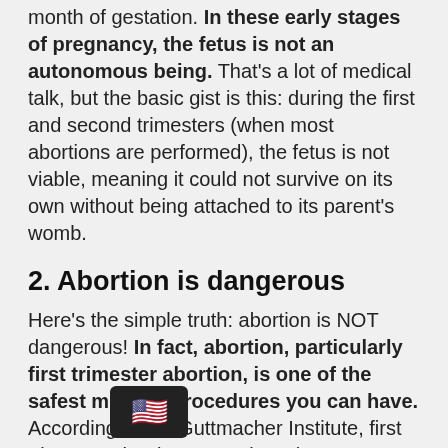month of gestation. In these early stages of pregnancy, the fetus is not an autonomous being. That's a lot of medical talk, but the basic gist is this: during the first and second trimesters (when most abortions are performed), the fetus is not viable, meaning it could not survive on its own without being attached to its parent's womb.
2. Abortion is dangerous
Here's the simple truth: abortion is NOT dangerous! In fact, abortion, particularly first trimester abortion, is one of the safest medical procedures you can have. According to the Guttmacher Institute, first trimester abortions carry less than a 0.05% risk of a major complication that would lead to a hospital visit.